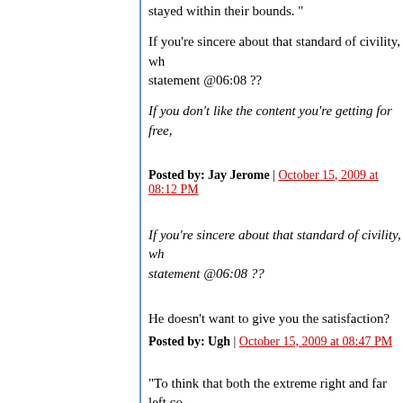stayed within their bounds. "
If you're sincere about that standard of civility, wh… statement @06:08 ??
If you don't like the content you're getting for free,…
Posted by: Jay Jerome | October 15, 2009 at 08:12 PM
If you're sincere about that standard of civility, wh… statement @06:08 ??
He doesn't want to give you the satisfaction?
Posted by: Ugh | October 15, 2009 at 08:47 PM
"To think that both the extreme right and far left c… subject -- that the answer or solution lies somewh… that seems foreign to the media/Internet age that…
Um, no, bedtime. That idea is called high Broderism… truth is found in the middle is the ideology of cent…